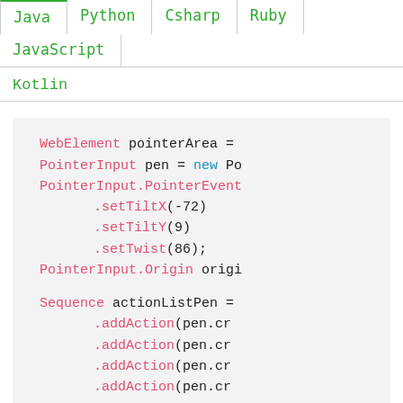Java
Python
Csharp
Ruby
JavaScript
Kotlin
WebElement pointerArea =
PointerInput pen = new Po
PointerInput.PointerEvent
    .setTiltX(-72)
    .setTiltY(9)
    .setTwist(86);
PointerInput.Origin origi

Sequence actionListPen =
    .addAction(pen.cr
    .addAction(pen.cr
    .addAction(pen.cr
    .addAction(pen.cr